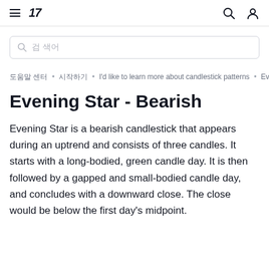TradingView navigation header with menu, logo, search and user icons
[Figure (other): Search input bar with placeholder text]
도움말 센터 • 시작하기 • I'd like to learn more about candlestick patterns • Eve
Evening Star - Bearish
Evening Star is a bearish candlestick that appears during an uptrend and consists of three candles. It starts with a long-bodied, green candle day. It is then followed by a gapped and small-bodied candle day, and concludes with a downward close. The close would be below the first day's midpoint.